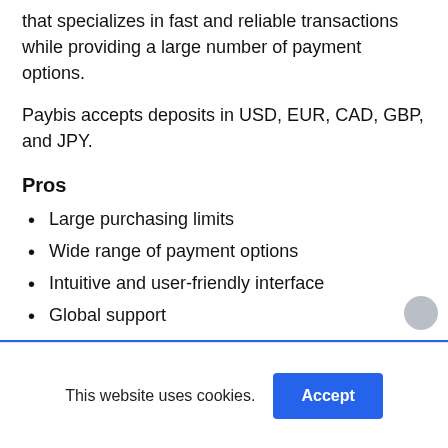that specializes in fast and reliable transactions while providing a large number of payment options.
Paybis accepts deposits in USD, EUR, CAD, GBP, and JPY.
Pros
Large purchasing limits
Wide range of payment options
Intuitive and user-friendly interface
Global support
24/7 Multilingual customer service
This website uses cookies.